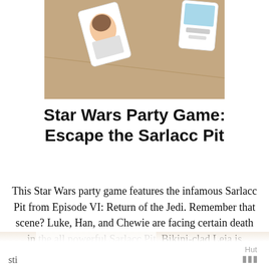[Figure (photo): Photo of card game components laid on a brown/cardboard surface, with illustrated character cards visible.]
Star Wars Party Game: Escape the Sarlacc Pit
This Star Wars party game features the infamous Sarlacc Pit from Episode VI: Return of the Jedi. Remember that scene? Luke, Han, and Chewie are facing certain death in the all powerful Sarlacc Pit. Bikini-clad Leia is